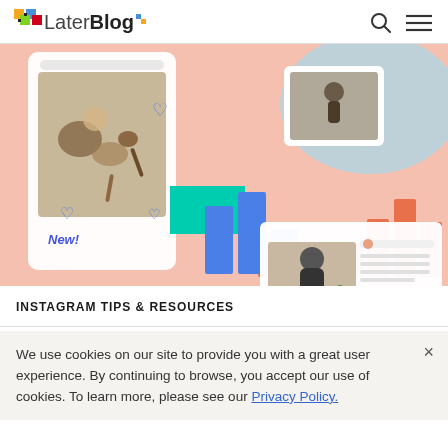Later Blog
[Figure (screenshot): Later Blog hero image showing Instagram post mockups, bar charts in blue and orange/salmon colors, a yoga/meditation photo, and an Instagram post of a person sitting on a couch with plants. Background colors are salmon/coral pink, teal, and light blue.]
INSTAGRAM TIPS & RESOURCES
We use cookies on our site to provide you with a great user experience. By continuing to browse, you accept our use of cookies. To learn more, please see our Privacy Policy.